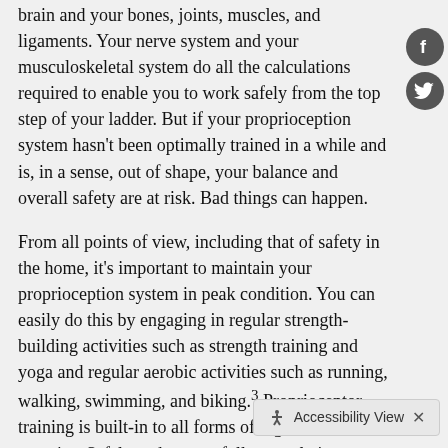brain and your bones, joints, muscles, and ligaments. Your nerve system and your musculoskeletal system do all the calculations required to enable you to work safely from the top step of your ladder. But if your proprioception system hasn't been optimally trained in a while and is, in a sense, out of shape, your balance and overall safety are at risk. Bad things can happen.
From all points of view, including that of safety in the home, it's important to maintain your proprioception system in peak condition. You can easily do this by engaging in regular strength-building activities such as strength training and yoga and regular aerobic activities such as running, walking, swimming, and biking.3 Proprioceptor training is built-in to all forms of vigorous exercise. Safely and successfully completing your home improvement projects is one of the many benefits.
1Judkins TN, Scheidt RA: Visuo-proprioceptive interactions during adaptation of the human reach. J Neurophysiol 2013 Nov 20 [Epub ahead of print]
2Suetterlin KL, Sayer AA: Pr... we now? A